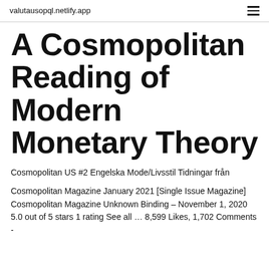valutausopql.netlify.app
A Cosmopolitan Reading of Modern Monetary Theory
Cosmopolitan US #2 Engelska Mode/Livsstil Tidningar från
Cosmopolitan Magazine January 2021 [Single Issue Magazine] Cosmopolitan Magazine Unknown Binding – November 1, 2020 5.0 out of 5 stars 1 rating See all … 8,599 Likes, 1,702 Comments -